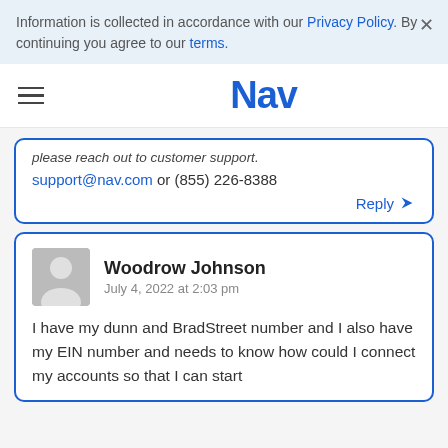Information is collected in accordance with our Privacy Policy. By continuing you agree to our terms.
Nav
please reach out to customer support. support@nav.com or (855) 226-8388
Reply
Woodrow Johnson
July 4, 2022 at 2:03 pm
I have my dunn and BradStreet number and I also have my EIN number and needs to know how could I connect my accounts so that I can start